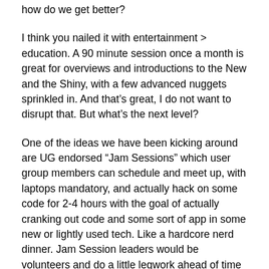how do we get better?
I think you nailed it with entertainment > education. A 90 minute session once a month is great for overviews and introductions to the New and the Shiny, with a few advanced nuggets sprinkled in. And that's great, I do not want to disrupt that. But what's the next level?
One of the ideas we have been kicking around are UG endorsed “Jam Sessions” which user group members can schedule and meet up, with laptops mandatory, and actually hack on some code for 2-4 hours with the goal of actually cranking out code and some sort of app in some new or lightly used tech. Like a hardcore nerd dinner. Jam Session leaders would be volunteers and do a little legwork ahead of time to get some ideas and directions, but whoever shows up to the session will have direct